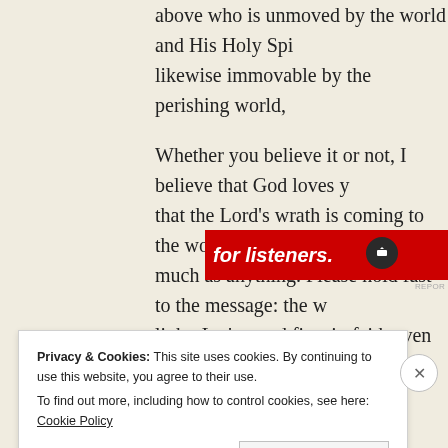above who is unmoved by the world and His Holy Spirit likewise immovable by the perishing world,
Whether you believe it or not, I believe that God loves you and that the Lord’s wrath is coming to the world for sins like much as anything. Please hold fast to the message: the world is light. Let’s stand firm in faith even as the world passes a
Much love to you in Christ.
[Figure (screenshot): Red advertisement banner with white italic bold text reading 'for listeners.' and a dark circular icon on the right side. A small 'REPORT' label appears below.]
Privacy & Cookies: This site uses cookies. By continuing to use this website, you agree to their use.
To find out more, including how to control cookies, see here: Cookie Policy
Close and accept